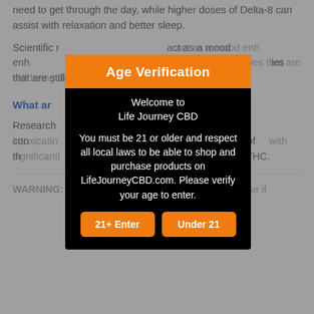need to get through the day, while higher doses of Delta-8 can assist with relaxation and better sleep.
Scientific research has shown that Delta-8 can act as a mood enhancer, provide relief, stimulate appetite, and a variety of other potential properties that are still being discovered.
What are the effects of Delta-8 THC?
Research has shown Delta-8 to have unique effects when combined with other cannabinoids. Less intoxicating than Delta-9 THC, Delta-8 THC possesses many of the same properties as CBD and CBN with significantly less potency in comparison to Delta-9 THC.
WARNING: KEEP AWAY FROM CHILDREN. Do not use if
[Figure (screenshot): Age Verification modal dialog box with orange header, black background, welcome message from Life Journey CBD, age requirement text, and two orange buttons: '21+ Enter' and 'Under 21']